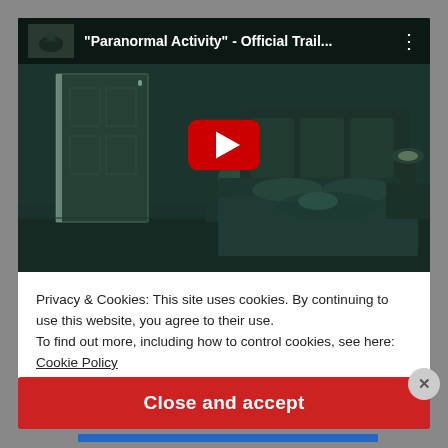[Figure (screenshot): YouTube video embed showing 'Paranormal Activity - Official Trail...' with a night-vision bedroom scene and a red play button overlay]
Privacy & Cookies: This site uses cookies. By continuing to use this website, you agree to their use.
To find out more, including how to control cookies, see here:
Cookie Policy
Close and accept